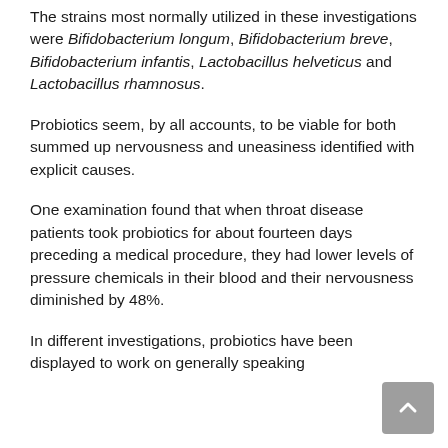The strains most normally utilized in these investigations were Bifidobacterium longum, Bifidobacterium breve, Bifidobacterium infantis, Lactobacillus helveticus and Lactobacillus rhamnosus.
Probiotics seem, by all accounts, to be viable for both summed up nervousness and uneasiness identified with explicit causes.
One examination found that when throat disease patients took probiotics for about fourteen days preceding a medical procedure, they had lower levels of pressure chemicals in their blood and their nervousness diminished by 48%.
In different investigations, probiotics have been displayed to work on generally speaking